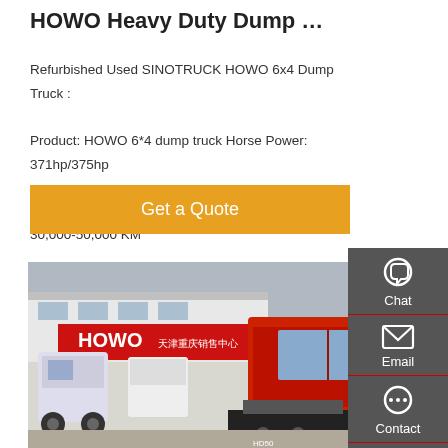HOWO Heavy Duty Dump …
Refurbished Used SINOTRUCK HOWO 6x4 Dump Truck :
Product: HOWO 6*4 dump truck Horse Power: 371hp/375hp
Drive mode: LHD/RHD Year: 2016-2018 Mileage: 30,000-50,000 KM
[Figure (other): Button labeled 'Get a Quote' with orange background]
[Figure (photo): Photo of HOWO heavy duty trucks parked in front of a HOWO dealership building, showing red truck cab in foreground and white trucks in background]
[Figure (other): Sidebar with Chat, Email, Contact, and Top navigation icons on dark gray background]